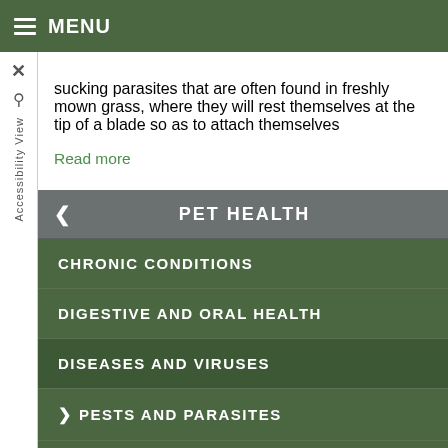MENU
sucking parasites that are often found in freshly mown grass, where they will rest themselves at the tip of a blade so as to attach themselves
Read more
PET HEALTH
CHRONIC CONDITIONS
DIGESTIVE AND ORAL HEALTH
DISEASES AND VIRUSES
> PESTS AND PARASITES
ORTHOPEDICS
Contact Us